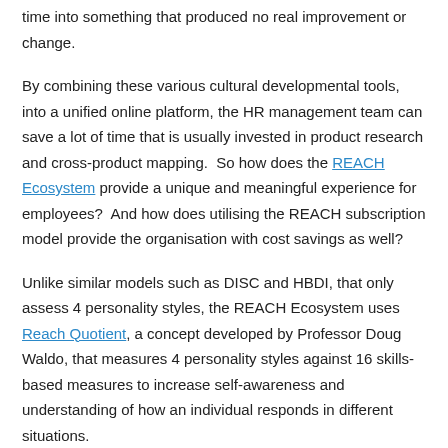time into something that produced no real improvement or change.
By combining these various cultural developmental tools, into a unified online platform, the HR management team can save a lot of time that is usually invested in product research and cross-product mapping.  So how does the REACH Ecosystem provide a unique and meaningful experience for employees?  And how does utilising the REACH subscription model provide the organisation with cost savings as well?
Unlike similar models such as DISC and HBDI, that only assess 4 personality styles, the REACH Ecosystem uses Reach Quotient, a concept developed by Professor Doug Waldo, that measures 4 personality styles against 16 skills-based measures to increase self-awareness and understanding of how an individual responds in different situations.
The beauty of REACH Quotient is that it does not limit an individual